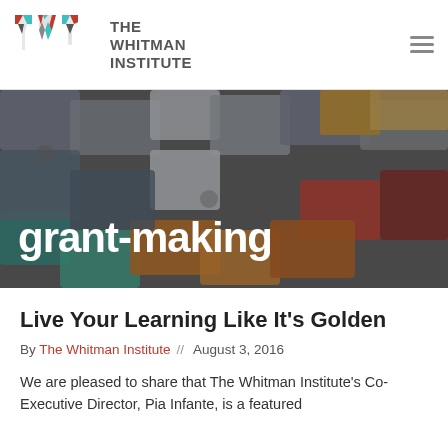THE WHITMAN INSTITUTE
[Figure (illustration): The Whitman Institute geometric logo made of colored triangular shapes forming letters T, W, I]
[Figure (photo): Hero banner image of colorful interlocking puzzle pieces with the text 'grant-making' in bold white over the image]
Live Your Learning Like It's Golden
By The Whitman Institute // August 3, 2016
We are pleased to share that The Whitman Institute's Co-Executive Director, Pia Infante, is a featured